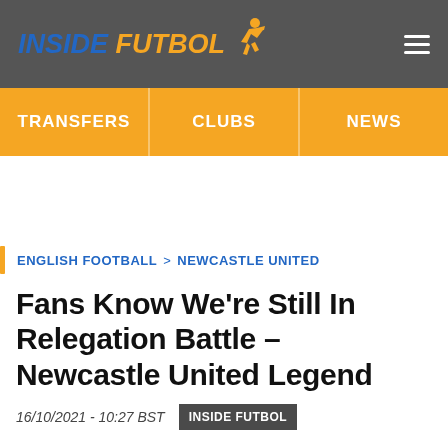INSIDE FUTBOL
TRANSFERS | CLUBS | NEWS
ENGLISH FOOTBALL > NEWCASTLE UNITED
Fans Know We're Still In Relegation Battle – Newcastle United Legend
16/10/2021 - 10:27 BST | INSIDE FUTBOL